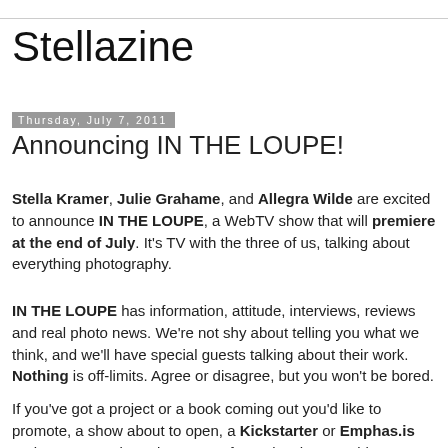Stellazine
Thursday, July 7, 2011
Announcing IN THE LOUPE!
Stella Kramer, Julie Grahame, and Allegra Wilde are excited to announce IN THE LOUPE, a WebTV show that will premiere at the end of July. It's TV with the three of us, talking about everything photography.
IN THE LOUPE has information, attitude, interviews, reviews and real photo news. We're not shy about telling you what we think, and we'll have special guests talking about their work. Nothing is off-limits. Agree or disagree, but you won't be bored.
If you've got a project or a book coming out you'd like to promote, a show about to open, a Kickstarter or Emphas.is project you need to raise money for, or just have an idea or